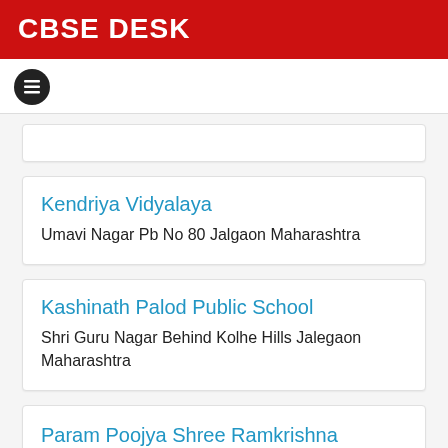CBSE DESK
[Figure (other): Hamburger menu icon button (three horizontal lines inside a black circle)]
Kendriya Vidyalaya
Umavi Nagar Pb No 80 Jalgaon Maharashtra
Kashinath Palod Public School
Shri Guru Nagar Behind Kolhe Hills Jalegaon Maharashtra
Param Poojya Shree Ramkrishna Saraswati Gurukul
At. Umale Post. Dharwad